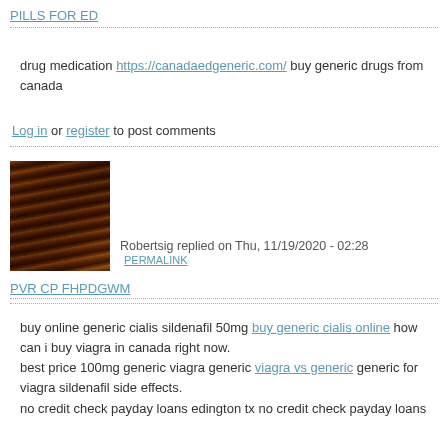PILLS FOR ED
drug medication https://canadaedgeneric.com/ buy generic drugs from canada
Log in or register to post comments
[Figure (photo): User avatar photo showing a dark portrait image]
Robertsig replied on Thu, 11/19/2020 - 02:28 PERMALINK
PVR CP FHPDGWM
buy online generic cialis sildenafil 50mg buy generic cialis online how can i buy viagra in canada right now. best price 100mg generic viagra generic viagra vs generic generic for viagra sildenafil side effects. no credit check payday loans edington tx no credit check payday loans